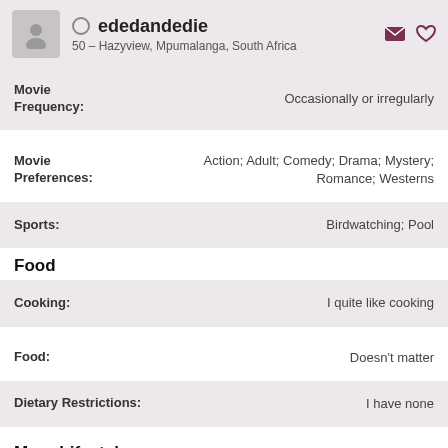ededandedie
50 – Hazyview, Mpumalanga, South Africa
Movie Frequency: Occasionally or irregularly
Movie Preferences: Action; Adult; Comedy; Drama; Mystery; Romance; Westerns
Sports: Birdwatching; Pool
Food
Cooking: I quite like cooking
Food: Doesn't matter
Dietary Restrictions: I have none
More Lifestyle